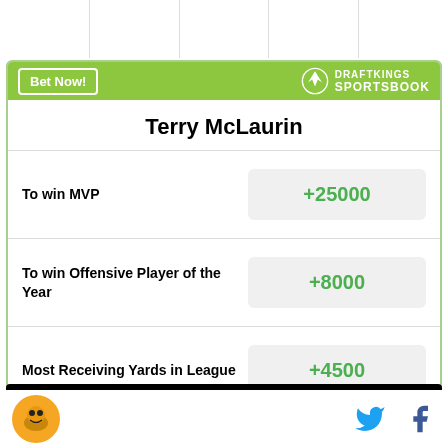[Figure (other): Top navigation bar with column separators]
[Figure (infographic): DraftKings Sportsbook betting widget for Terry McLaurin showing odds for MVP (+25000), Offensive Player of the Year (+8000), and Most Receiving Yards in League (+4500)]
Odds/Lines subject to change. See draftkings.com for details.
[Figure (other): Advertisement bar (AD) with black background]
[Figure (logo): Site logo (circular orange icon) at bottom left, Twitter and Facebook social icons at bottom right]